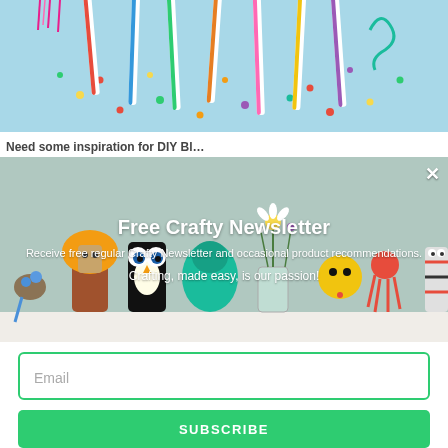[Figure (photo): Party straws and confetti on a blue background, viewed from above — colorful striped paper straws, curled paper decorations, and small round confetti dots scattered on a light blue surface.]
Need some inspiration for DIY Bl…
[Figure (photo): Handmade craft animal figures lined up on a white shelf: small stone animals with googly eyes, a lion made from a toilet roll with yellow felt mane, a penguin/owl made from a cardboard roll painted black with large googly eyes, a teal fluffy creature, a glass jar with daisies and wildflowers, a yellow round creature with black spots, a red octopus/spider made from pipe cleaners, and a striped creature on the right. Background is blurred.]
Free Crafty Newsletter
Receive free regular Crafty Newsletter and occasional product recommendations.
Crafting, made easy, is our passion!
Email
SUBSCRIBE